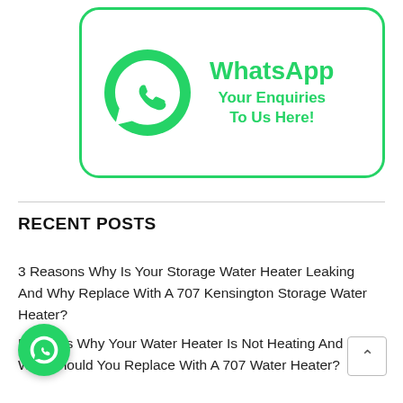[Figure (infographic): WhatsApp banner with green rounded rectangle border, WhatsApp logo icon on the left, and bold green text 'WhatsApp Your Enquiries To Us Here!' on the right]
RECENT POSTS
3 Reasons Why Is Your Storage Water Heater Leaking And Why Replace With A 707 Kensington Storage Water Heater?
Reasons Why Your Water Heater Is Not Heating And Why Should You Replace With A 707 Water Heater?